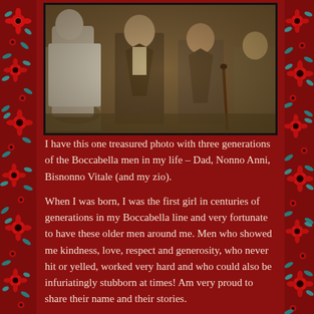[Figure (photo): A vintage photograph showing three generations of Boccabella men — Dad, Nonno Anni, Bisnonno Vitale, and a zio — standing together outdoors. Men wearing suits and one holding a cane. Sepia/warm toned photo.]
I have this one treasured photo with three generations of the Boccabella men in my life – Dad, Nonno Anni, Bisnonno Vitale (and my zio).
When I was born, I was the first girl in centuries of generations in my Boccabella line and very fortunate to have these older men around me. Men who showed me kindness, love, respect and generosity, who never hit or yelled, worked very hard and who could also be infuriatingly stubborn at times! Am very proud to share their name and their stories.
Happy Father's Day to all the Dads and tight hugs to those missing Dads (and also Grandpas and Great-Granddads as I do too). With